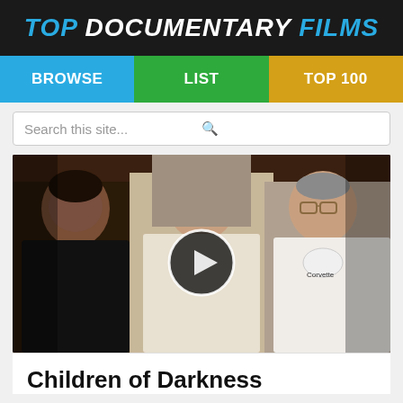TOP DOCUMENTARY FILMS
BROWSE | LIST | TOP 100
Search this site...
[Figure (photo): Three men standing together in an indoor setting. The man on the left wears a black shirt, the center man wears a white shirt and cap with something around his chin, and the man on the right wears glasses and a white Corvette t-shirt. A video play button overlay is centered on the image.]
Children of Darkness